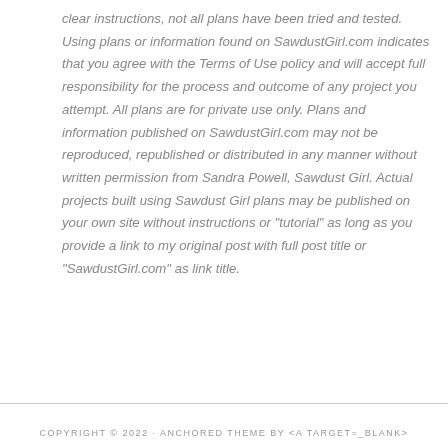clear instructions, not all plans have been tried and tested. Using plans or information found on SawdustGirl.com indicates that you agree with the Terms of Use policy and will accept full responsibility for the process and outcome of any project you attempt. All plans are for private use only. Plans and information published on SawdustGirl.com may not be reproduced, republished or distributed in any manner without written permission from Sandra Powell, Sawdust Girl. Actual projects built using Sawdust Girl plans may be published on your own site without instructions or "tutorial" as long as you provide a link to my original post with full post title or "SawdustGirl.com" as link title.
COPYRIGHT © 2022 · ANCHORED THEME BY <A TARGET=_BLANK>